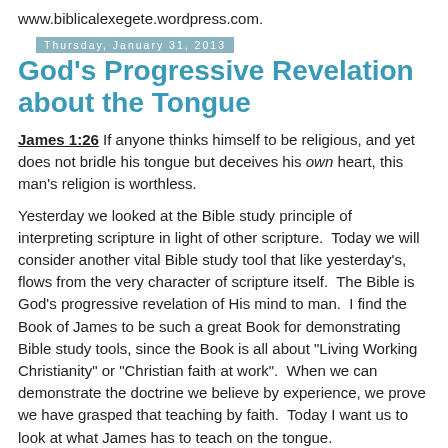www.biblicalexegete.wordpress.com.
Thursday, January 31, 2013
God's Progressive Revelation about the Tongue
James 1:26 If anyone thinks himself to be religious, and yet does not bridle his tongue but deceives his own heart, this man's religion is worthless.
Yesterday we looked at the Bible study principle of interpreting scripture in light of other scripture.  Today we will consider another vital Bible study tool that like yesterday's, flows from the very character of scripture itself.  The Bible is God's progressive revelation of His mind to man.  I find the Book of James to be such a great Book for demonstrating Bible study tools, since the Book is all about "Living Working Christianity" or "Christian faith at work".  When we can demonstrate the doctrine we believe by experience, we prove we have grasped that teaching by faith.  Today I want us to look at what James has to teach on the tongue.